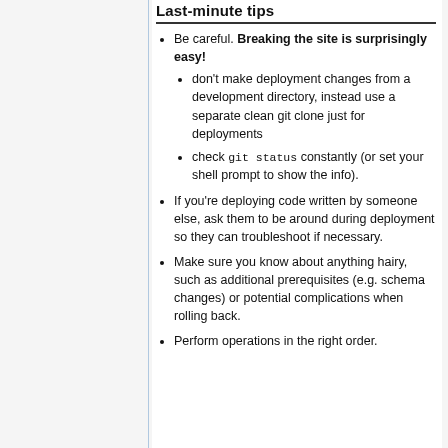Be careful. Breaking the site is surprisingly easy!
don't make deployment changes from a development directory, instead use a separate clean git clone just for deployments
check git status constantly (or set your shell prompt to show the info).
If you're deploying code written by someone else, ask them to be around during deployment so they can troubleshoot if necessary.
Make sure you know about anything hairy, such as additional prerequisites (e.g. schema changes) or potential complications when rolling back.
Perform operations in the right order.